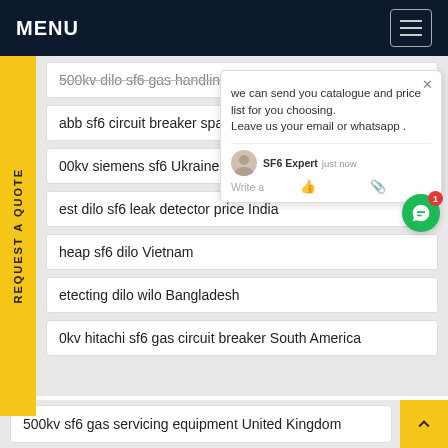MENU
500kv dilo sf6 gas handling machine price Asia
abb sf6 circuit breaker spares Malaysia
00kv siemens sf6 Ukraine
est dilo sf6 leak detector price India
heap sf6 dilo Vietnam
etecting dilo wilo Bangladesh
0kv hitachi sf6 gas circuit breaker South America
500kv sf6 gas servicing equipment United Kingdom
we can send you catalogue and price list for you choosing.
Leave us your email or whatsapp .
SF6 Expert  just now
Write a